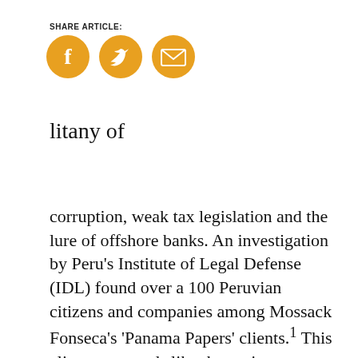SHARE ARTICLE:
[Figure (illustration): Three yellow circular social sharing icons: Facebook (f logo), Twitter (bird logo), and Email (envelope icon)]
litany of
corruption, weak tax legislation and the lure of offshore banks. An investigation by Peru's Institute of Legal Defense (IDL) found over a 100 Peruvian citizens and companies among Mossack Fonseca's 'Panama Papers' clients.1 This elite group reads like the society pages: television personalities, politicians and oligarchic families owning beer, football and sugar companies and sporting an ancestry traceable back to the Spanish conquerors